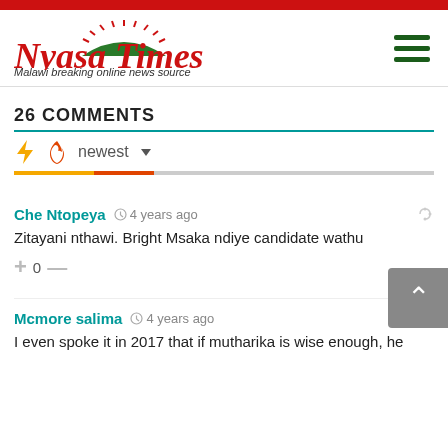Nyasa Times – Malawi breaking online news source
26 COMMENTS
newest
Che Ntopeya · 4 years ago
Zitayani nthawi. Bright Msaka ndiye candidate wathu
0
Mcmore salima · 4 years ago
I even spoke it in 2017 that if mutharika is wise enough, he